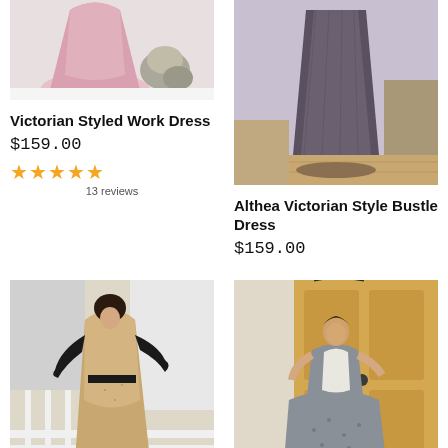[Figure (photo): Pink dress and stone accessories on white background, top portion visible]
Victorian Styled Work Dress
$159.00
★★★★★ 13 reviews
[Figure (photo): Dark grey/purple cone-shaped bustle dress form on wooden floor]
Althea Victorian Style Bustle Dress
$159.00
[Figure (photo): Woman in Victorian tan/brown dress with black gloves posing on staircase]
[Figure (photo): Woman in grey patterned Victorian ball gown standing at wooden door]